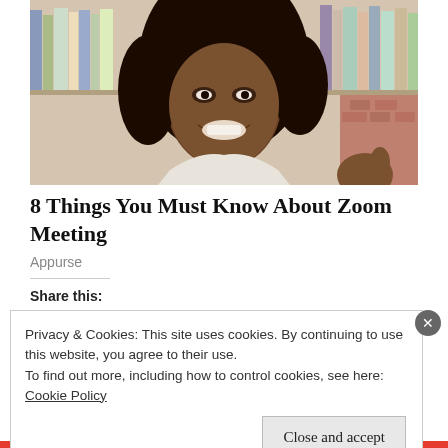[Figure (photo): A smiling young Black woman with wavy hair, wearing a white top, posing in front of a bookshelf filled with books. A brick wall is visible in the background.]
8 Things You Must Know About Zoom Meeting
Appurse
Share this:
Privacy & Cookies: This site uses cookies. By continuing to use this website, you agree to their use.
To find out more, including how to control cookies, see here:
Cookie Policy
Close and accept